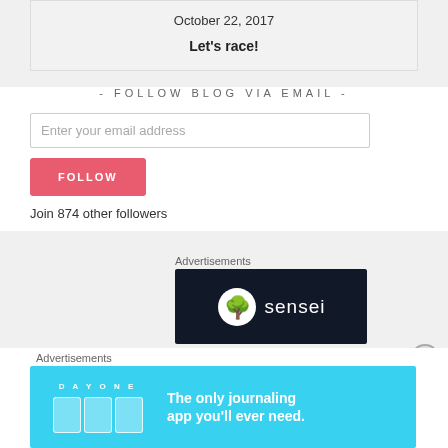October 22, 2017
Let's race!
- FOLLOW BLOG VIA EMAIL -
Enter your email address
FOLLOW
Join 874 other followers
Advertisements
[Figure (logo): Sensei logo - dark background with white circle containing a tree/person icon and 'sensei' text in white]
Advertisements
[Figure (illustration): Day One app advertisement - light blue background with DAY ONE text, journaling icons, and tagline 'The only journaling app you'll ever need.']